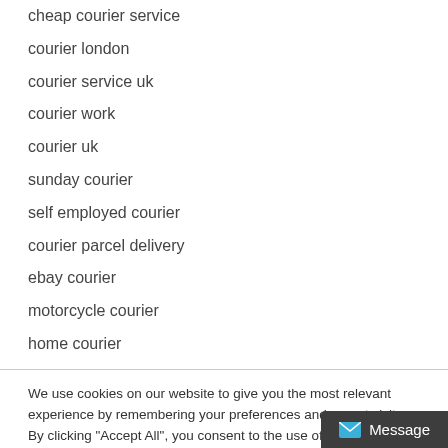cheap courier service
courier london
courier service uk
courier work
courier uk
sunday courier
self employed courier
courier parcel delivery
ebay courier
motorcycle courier
home courier
We use cookies on our website to give you the most relevant experience by remembering your preferences and repeat visits. By clicking "Accept All", you consent to the use of ALL the cookies. However, you may visit "Cookie Settings" to provide a controlled consent.
Cookie Settings | Accept All | Privacy Policy | Message